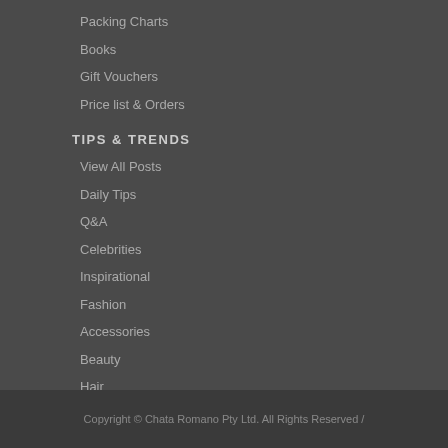Packing Charts
Books
Gift Vouchers
Price list & Orders
TIPS & TRENDS
View All Posts
Daily Tips
Q&A
Celebrities
Inspirational
Fashion
Accessories
Beauty
Hair
At Work
Advertise With Us
Copyright © Chata Romano Pty Ltd. All Rights Reserved /